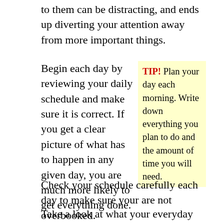to them can be distracting, and ends up diverting your attention away from more important things.
Begin each day by reviewing your daily schedule and make sure it is correct. If you get a clear picture of what has to happen in any given day, you are much more likely to get everything done. Check your schedule carefully each day to make sure your are not overbooked.
TIP! Plan your day each morning. Write down everything you plan to do and the amount of time you will need.
Take a look at what your everyday routine is like. Do you see some unnecessary activities